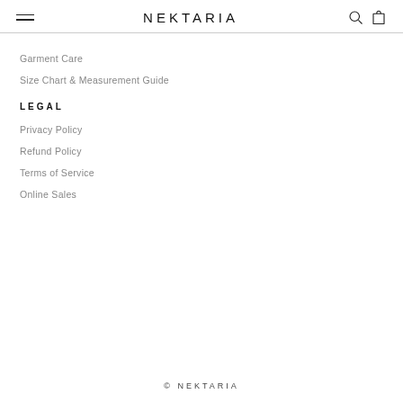NEKTARIA
Garment Care
Size Chart & Measurement Guide
LEGAL
Privacy Policy
Refund Policy
Terms of Service
Online Sales
© NEKTARIA